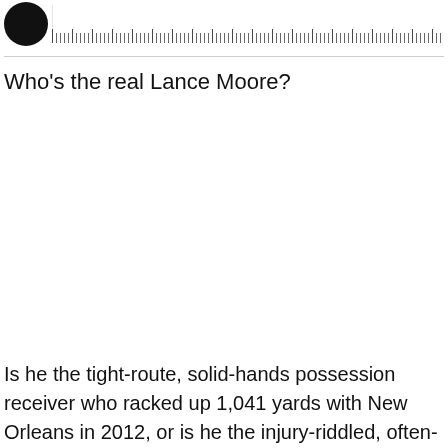[Figure (other): Circular black avatar/profile image on the left, with an audio waveform/podcast player bar extending to the right]
Who's the real Lance Moore?
Is he the tight-route, solid-hands possession receiver who racked up 1,041 yards with New Orleans in 2012, or is he the injury-riddled, often-overlooked last option